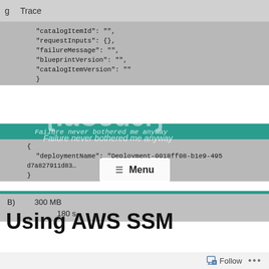[Figure (screenshot): A screenshot of a code/trace view showing JSON fields like catalogItemId, requestInputs, failureMessage, blueprintVersion, catalogItemVersion, deploymentName. A green highlighted row shows 'Failure never bothered me anyway'. Overlaid watermarks: {!aCoder} and a Menu button. Below the code area are values '300 MB' and '180 s'. Partially visible tab labels 'g' and 'Trace' are shown at the top.]
Using AWS SSM
Follow ...